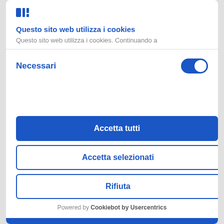[Figure (logo): Blue logo in top left of cookie consent modal]
Questo sito web utilizza i cookies
Questo sito web utilizza i cookies. Continuando a
Necessari
Accetta tutti
Accetta selezionati
Rifiuta
Powered by Cookiebot by Usercentrics